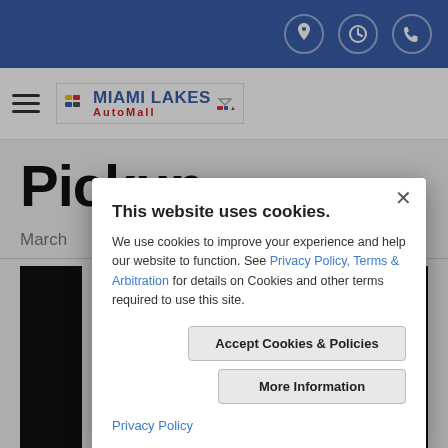[Figure (screenshot): Blue website header bar with location, clock, and phone icons on the right]
[Figure (logo): Miami Lakes AutoMall logo with hamburger menu icon]
Pickup
March
[Figure (screenshot): Cookie consent modal dialog]
This website uses cookies.
We use cookies to improve your experience and help our website to function. See Privacy Policy, Terms & Arbitration for details on Cookies and other terms required to use this site.
Accept Cookies & Policies
More Information
Privacy Policy